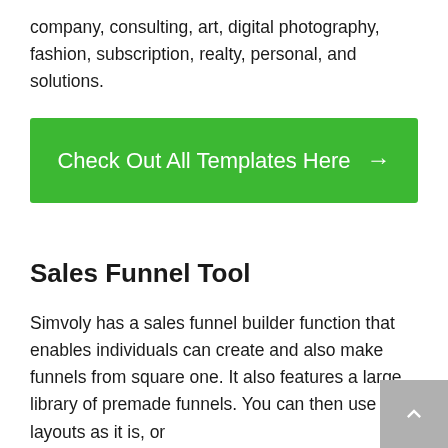company, consulting, art, digital photography, fashion, subscription, realty, personal, and solutions.
[Figure (other): Green button labeled 'Check Out All Templates Here →']
Sales Funnel Tool
Simvoly has a sales funnel builder function that enables individuals can create and also make funnels from square one. It also features a large library of premade funnels. You can then use the layouts as it is, or